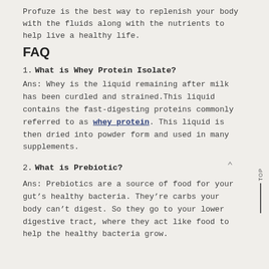Profuze is the best way to replenish your body with the fluids along with the nutrients to help live a healthy life.
FAQ
1. What is Whey Protein Isolate?
Ans: Whey is the liquid remaining after milk has been curdled and strained.This liquid contains the fast-digesting proteins commonly referred to as whey protein. This liquid is then dried into powder form and used in many supplements.
2. What is Prebiotic?
Ans: Prebiotics are a source of food for your gut’s healthy bacteria. They’re carbs your body can’t digest. So they go to your lower digestive tract, where they act like food to help the healthy bacteria grow.